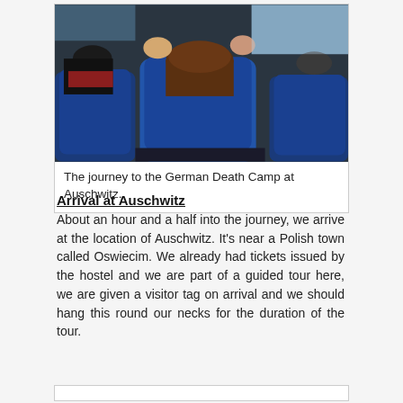[Figure (photo): Interior of a bus with passengers seated, view from behind. Blue seat backs visible. Photo taken from inside a bus showing multiple passengers.]
The journey to the German Death Camp at Auschwitz.
Arrival at Auschwitz
About an hour and a half into the journey, we arrive at the location of Auschwitz. It's near a Polish town called Oswiecim. We already had tickets issued by the hostel and we are part of a guided tour here, we are given a visitor tag on arrival and we should hang this round our necks for the duration of the tour.